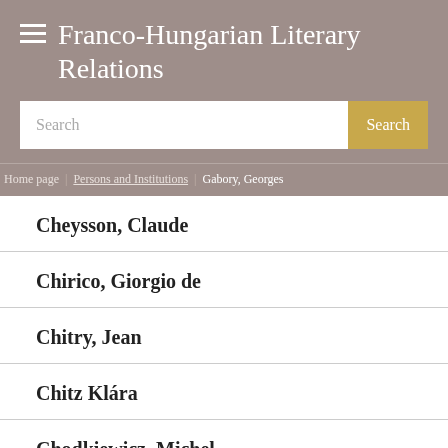Franco-Hungarian Literary Relations
Search
Home page > Persons and Institutions > Gabory, Georges
Cheysson, Claude
Chirico, Giorgio de
Chitry, Jean
Chitz Klára
Chodkiewicz, Michel